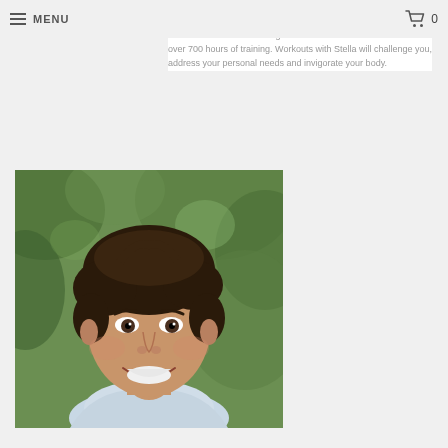MENU | 0
and I also have found a great trainer, certificate that offered a structured learning curriculum in authentic Pilates with over 700 hours of training. Workouts with Stella will challenge you, address your personal needs and invigorate your body.
[Figure (photo): Headshot of a young man with dark hair, smiling, wearing a light blue shirt, with green foliage in the background.]